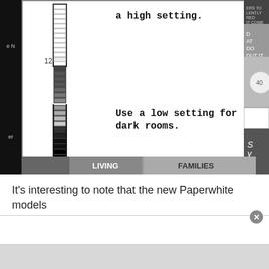[Figure (screenshot): Kindle Paperwhite brightness slider UI screenshot. Shows a vertical brightness slider with white boxes at the top (high setting) and dark/black boxes at the bottom (low setting). A bracket at the top is labeled with text 'a high setting.' and a bracket at the bottom is labeled 'Use a low setting for dark rooms.' The number 12 marks the midpoint. A minus symbol appears at the bottom. Left and right sides show cropped magazine/book covers.]
It’s interesting to note that the new Paperwhite models